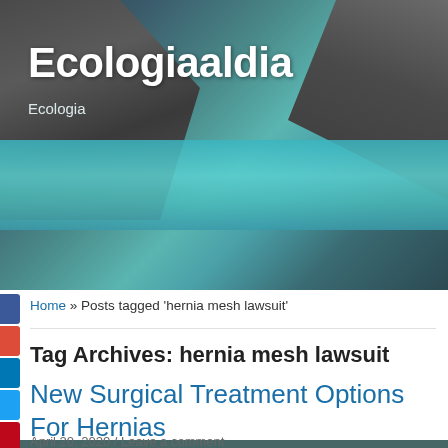[Figure (photo): Website header banner with nature/ecology photo showing turquoise water, rocks and cliffs in background]
Ecologiaaldia
Ecologia
[Figure (screenshot): Navigation bar with hamburger menu icon on left and search box on right]
Home » Posts tagged 'hernia mesh lawsuit'
Tag Archives: hernia mesh lawsuit
New Surgical Treatment Options For Hernias
April 20, 2020 / Leave a comment